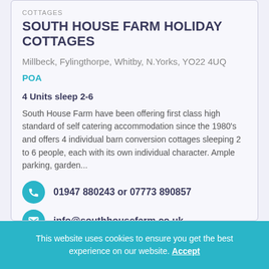COTTAGES
SOUTH HOUSE FARM HOLIDAY COTTAGES
Millbeck, Fylingthorpe, Whitby, N.Yorks, YO22 4UQ
POA
4 Units sleep 2-6
South House Farm have been offering first class high standard of self catering accommodation since the 1980's and offers 4 individual barn conversion cottages sleeping 2 to 6 people, each with its own individual character. Ample parking, garden...
01947 880243 or 07773 890857
info@southhousefarm.co.uk
This website uses cookies to ensure you get the best experience on our website. Accept